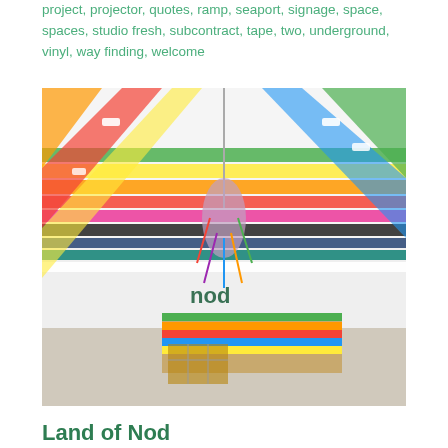project, projector, quotes, ramp, seaport, signage, space, spaces, studio fresh, subcontract, tape, two, underground, vinyl, way finding, welcome
[Figure (photo): Interior photo of a retail space (Land of Nod store) featuring a colorful multicolored striped ceiling with zigzag patterns in yellow, orange, red, pink, black, navy, teal, green and other colors. A decorative chandelier with colorful hanging elements hangs from the center. A wooden reception desk with colorful striped front panel is visible in the foreground. The word 'nod' is displayed on the back wall.]
Land of Nod